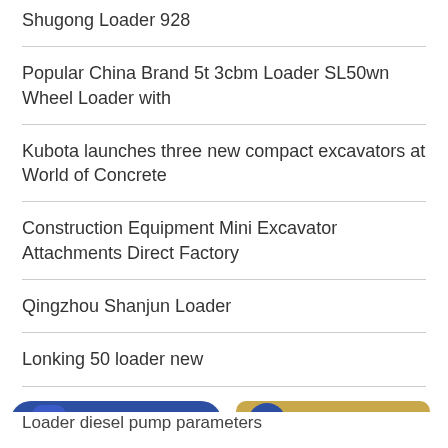Shugong Loader 928
Popular China Brand 5t 3cbm Loader SL50wn Wheel Loader with
Kubota launches three new compact excavators at World of Concrete
Construction Equipment Mini Excavator Attachments Direct Factory
Qingzhou Shanjun Loader
Lonking 50 loader new
HOT NEWS
Loader diesel pump parameters